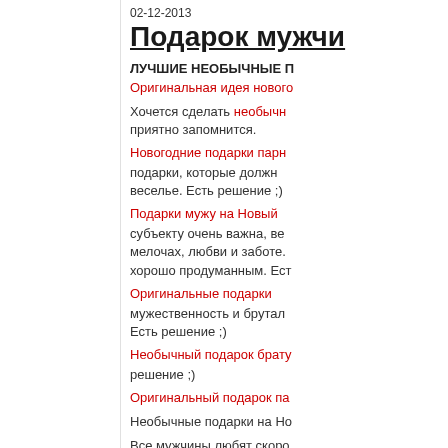02-12-2013
Подарок мужчи...
ЛУЧШИЕ НЕОБЫЧНЫЕ П...
Оригинальная идея нового...
Хочется сделать необычн... приятно запомнится.
Новогодние подарки парн... подарки, которые должн... веселье. Есть решение ;)
Подарки мужу на Новый... субъекту очень важна, ве... мелочах, любви и заботе. хорошо продуманным. Ест...
Оригинальные подарки... мужественность и брутал... Есть решение ;)
Необычный подарок брату... решение ;)
Оригинальный подарок па...
Необычные подарки на Но...
Все мужчины любят скоро... мотоциклом на Новый год...